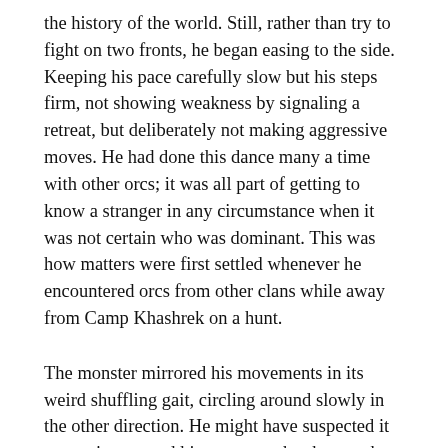the history of the world. Still, rather than try to fight on two fronts, he began easing to the side. Keeping his pace carefully slow but his steps firm, not showing weakness by signaling a retreat, but deliberately not making aggressive moves. He had done this dance many a time with other orcs; it was all part of getting to know a stranger in any circumstance when it was not certain who was dominant. This was how matters were first settled whenever he encountered orcs from other clans while away from Camp Khashrek on a hunt.
The monster mirrored his movements in its weird shuffling gait, circling around slowly in the other direction. He might have suspected it was going around him to get at the shaman, but it kept its focus firmly on him, right where he wanted it. The movements were all so bizarrely familiar.
“Lost one,” Raghann said earnestly once she had a clear line of sight to the creature, “we implore you to be at peace.”